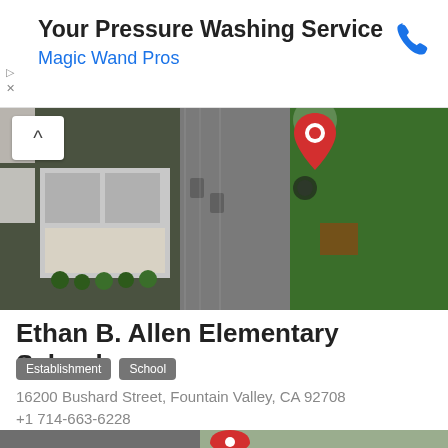[Figure (screenshot): Ad banner: 'Your Pressure Washing Service' with 'Magic Wand Pros' subtitle in blue and a phone icon on the right]
[Figure (map): Satellite aerial view map of Ethan B. Allen Elementary School with a red map pin marker, showing buildings and green field]
Ethan B. Allen Elementary School
Establishment
School
16200 Bushard Street, Fountain Valley, CA 92708
+1 714-663-6228
[Figure (map): Partial bottom satellite map view with a red map pin]